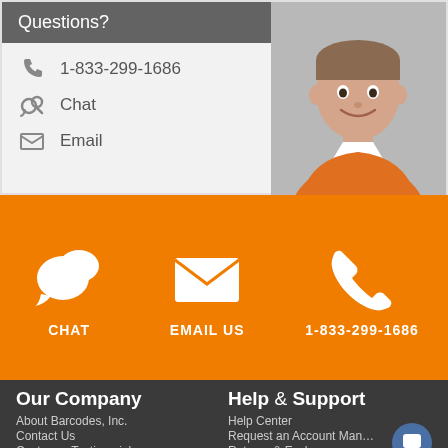Questions?
1-833-299-1686
Chat
Email
[Figure (photo): Smiling man in orange polo shirt]
CHAT
EMAIL US
1-833-299-1686
Our Company
About Barcodes, Inc.
Contact Us
Customer Testimonials
Help & Support
Help Center
Request an Account Manager
Returns & Exchanges